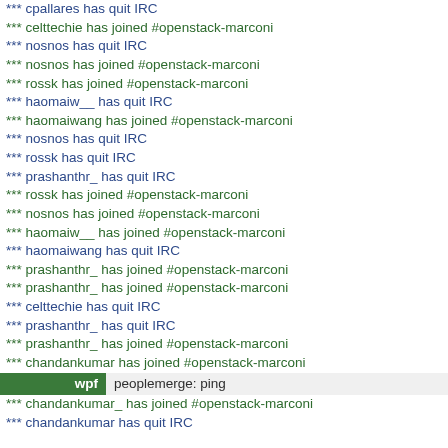*** cpallares has quit IRC
*** celttechie has joined #openstack-marconi
*** nosnos has quit IRC
*** nosnos has joined #openstack-marconi
*** rossk has joined #openstack-marconi
*** haomaiw__ has quit IRC
*** haomaiwang has joined #openstack-marconi
*** nosnos has quit IRC
*** rossk has quit IRC
*** prashanthr_ has quit IRC
*** rossk has joined #openstack-marconi
*** nosnos has joined #openstack-marconi
*** haomaiw__ has joined #openstack-marconi
*** haomaiwang has quit IRC
*** prashanthr_ has joined #openstack-marconi
*** prashanthr_ has joined #openstack-marconi
*** celttechie has quit IRC
*** prashanthr_ has quit IRC
*** prashanthr_ has joined #openstack-marconi
*** chandankumar has joined #openstack-marconi
wpf   peoplemerge:  ping
*** chandankumar_ has joined #openstack-marconi
*** chandankumar has quit IRC